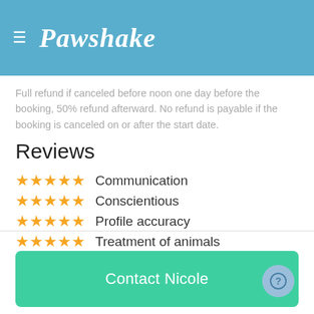Pawshake
Full refund if canceled before noon one day before the booking, 50% refund afterward. No refund is payable if the booking is canceled on or after the start date.
Reviews
★★★★★ Communication
★★★★★ Conscientious
★★★★★ Profile accuracy
★★★★★ Treatment of animals
★★★★★ Value
Contact Nicole